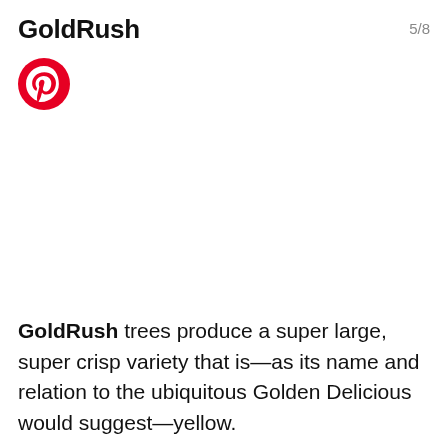GoldRush  5/8
[Figure (logo): Pinterest red circular logo with white P letter]
GoldRush trees produce a super large, super crisp variety that is—as its name and relation to the ubiquitous Golden Delicious would suggest—yellow.